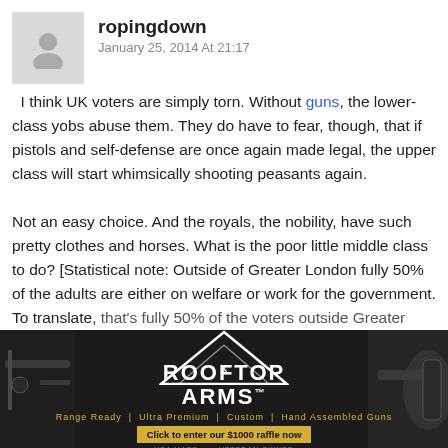ropingdown
January 25, 2014 At 21:17
I think UK voters are simply torn. Without guns, the lower-class yobs abuse them. They do have to fear, though, that if pistols and self-defense are once again made legal, the upper class will start whimsically shooting peasants again.

Not an easy choice. And the royals, the nobility, have such pretty clothes and horses. What is the poor little middle class to do? [Statistical note: Outside of Greater London fully 50% of the adults are either on welfare or work for the government. To translate, that's fully 50% of the voters outside Greater
[Figure (screenshot): Advertisement banner for Rooftop Arms gun store showing logo with crossed rifles inside a triangle, tagline 'Range Ready | Ultra Premium | Custom | Hand Assembled Guns', and a call-to-action 'Click to enter our $1000 raffle now'. Dark background with gun imagery on sides.]